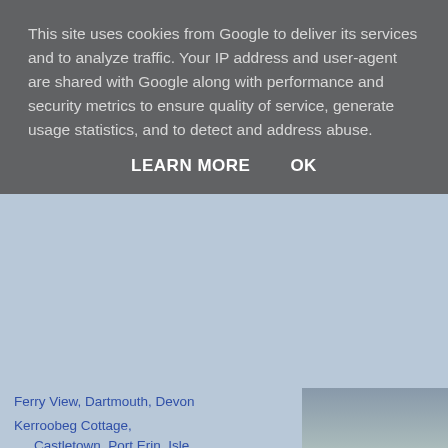This site uses cookies from Google to deliver its services and to analyze traffic. Your IP address and user-agent are shared with Google along with performance and security metrics to ensure quality of service, generate usage statistics, and to detect and address abuse.
LEARN MORE    OK
Ferry View, Dartmouth, Devon
Kerroobeg Cottage, Castletown, Port Erin, Isle of Man
Red Kite Cottages, Ffair Rhos, Rhayader, Ceredigion
Luckley Farm Cottages, Longborough, Moreton-in-Mar...
Aultbea Caravans, Gairloch, Ross-shire, Wester Ross
Hindringham Hall, Hindringham, Norfolk
[Figure (photo): Navy blue sneaker shoes with white sole and brown/tan accent, displayed on grey background]
Gronk's Favorite "Dressy" Shoes Feel Like Walking On Clo
Wolf & Shepherd